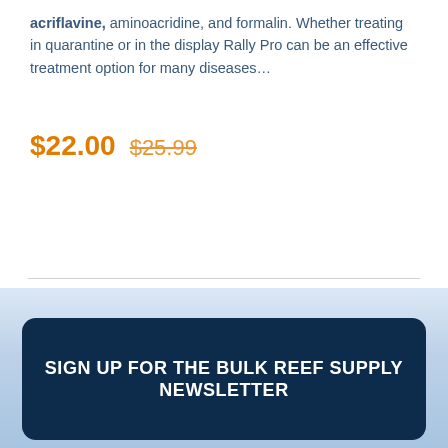acriflavine, aminoacridine, and formalin. Whether treating in quarantine or in the display Rally Pro can be an effective treatment option for many diseases…
$22.00  $25.99
ADD TO CART
1
SIGN UP FOR THE BULK REEF SUPPLY NEWSLETTER